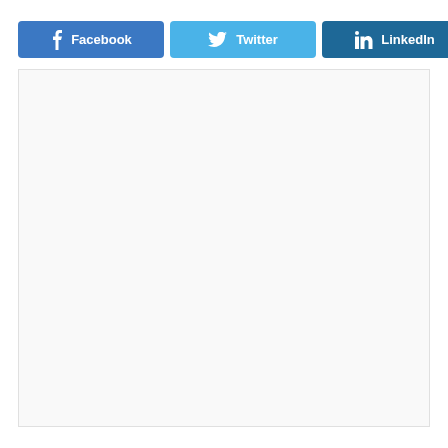[Figure (infographic): Social share button bar with Facebook (blue), Twitter (light blue), LinkedIn (dark blue) buttons, and a generic share/forward icon button]
[Figure (other): Large white/light gray empty content box below the share buttons]